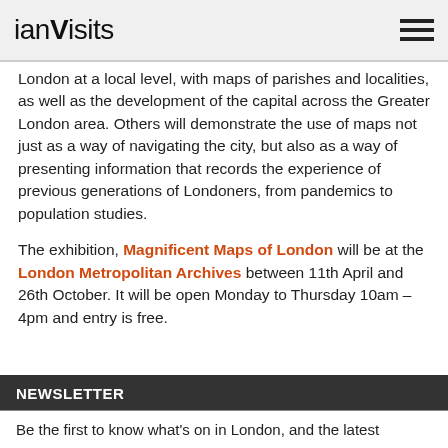ianVisits
London at a local level, with maps of parishes and localities, as well as the development of the capital across the Greater London area. Others will demonstrate the use of maps not just as a way of navigating the city, but also as a way of presenting information that records the experience of previous generations of Londoners, from pandemics to population studies.
The exhibition, Magnificent Maps of London will be at the London Metropolitan Archives between 11th April and 26th October. It will be open Monday to Thursday 10am – 4pm and entry is free.
NEWSLETTER
Be the first to know what's on in London, and the latest